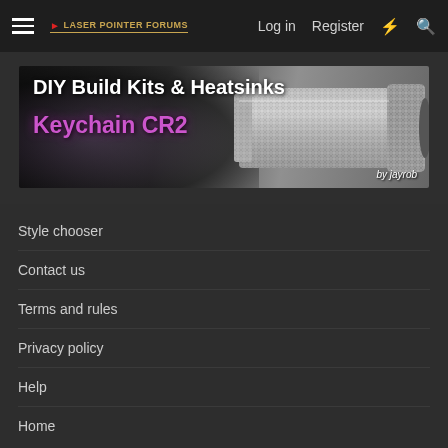Laser Pointer Forums — Log in | Register
[Figure (illustration): Banner advertisement for DIY Build Kits & Heatsinks - Keychain CR2 by jayrob, showing a metallic laser pointer cylinder on a dark background]
Style chooser
Contact us
Terms and rules
Privacy policy
Help
Home